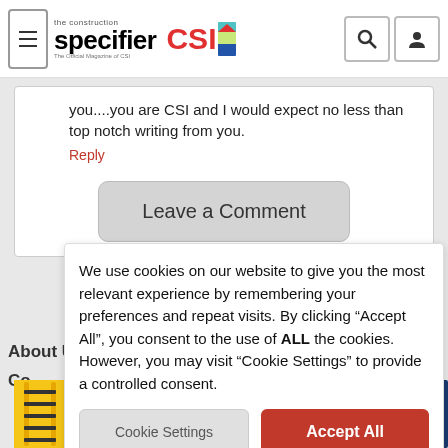the construction specifier | CSI
you....you are CSI and I would expect no less than top notch writing from you.
Reply
Leave a Comment
About Us   Advertise   Contact   Terms and
We use cookies on our website to give you the most relevant experience by remembering your preferences and repeat visits. By clicking “Accept All”, you consent to the use of ALL the cookies. However, you may visit “Cookie Settings” to provide a controlled consent.
Cookie Settings
Accept All
[Figure (logo): Lapeyre Stair advertisement banner with yellow ladder and dark blue background]